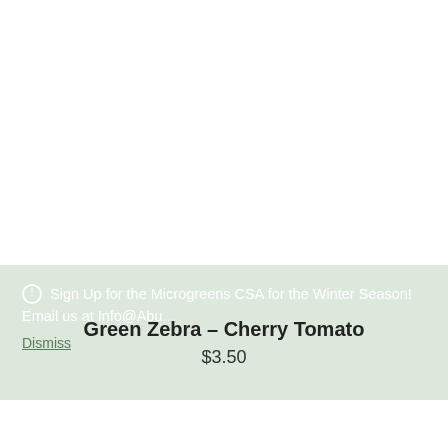Sign Up for the Microgreens CSA for the Winter Season! Email us at Info@Abu... Dismiss
Green Zebra – Cherry Tomato
$3.50